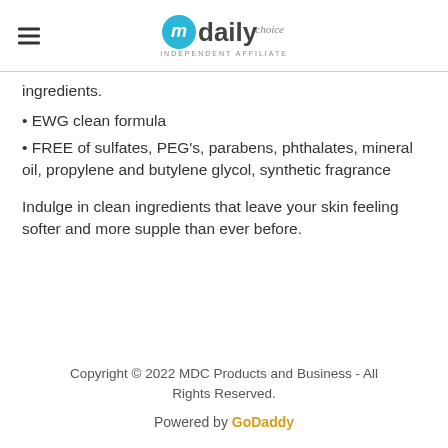mydaily choice - INDEPENDENT AFFILIATE
ingredients.
• EWG clean formula
• FREE of sulfates, PEG's, parabens, phthalates, mineral oil, propylene and butylene glycol, synthetic fragrance
Indulge in clean ingredients that leave your skin feeling softer and more supple than ever before.
Copyright © 2022 MDC Products and Business - All Rights Reserved.
Powered by GoDaddy